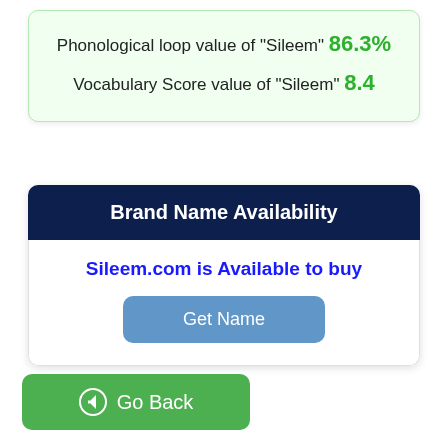Phonological loop value of "Sileem" 86.3%
Vocabulary Score value of "Sileem" 8.4
Brand Name Availability
Sileem.com is Available to buy
Get Name
Go Back